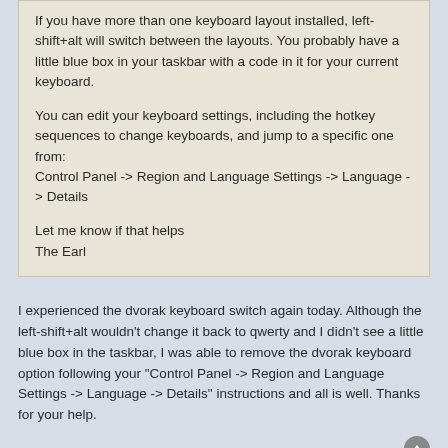If you have more than one keyboard layout installed, left-shift+alt will switch between the layouts. You probably have a little blue box in your taskbar with a code in it for your current keyboard.
You can edit your keyboard settings, including the hotkey sequences to change keyboards, and jump to a specific one from:
Control Panel -> Region and Language Settings -> Language -> Details
Let me know if that helps
The Earl
I experienced the dvorak keyboard switch again today. Although the left-shift+alt wouldn't change it back to qwerty and I didn't see a little blue box in the taskbar, I was able to remove the dvorak keyboard option following your "Control Panel -> Region and Language Settings -> Language -> Details" instructions and all is well. Thanks for your help.
jdlessley
Community Moderators